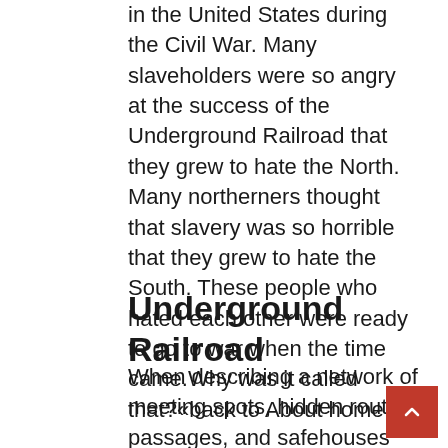in the United States during the Civil War. Many slaveholders were so angry at the success of the Underground Railroad that they grew to hate the North. Many northerners thought that slavery was so horrible that they grew to hate the South. These people who hated each other were ready to go to war when the time came.Why was it called that?«back to About home
Underground Railroad
When describing a network of meeting spots, hidden routes, passages, and safehouses used by slaves in the United States to escape slave-holding states and